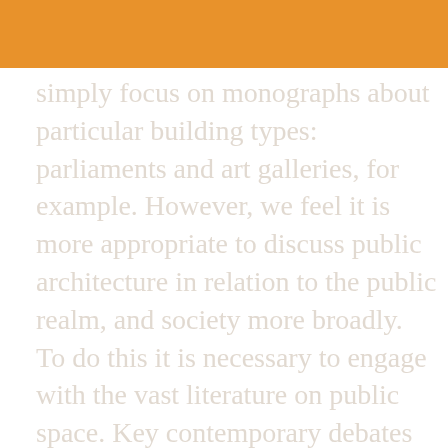simply focus on monographs about particular building types: parliaments and art galleries, for example. However, we feel it is more appropriate to discuss public architecture in relation to the public realm, and society more broadly. To do this it is necessary to engage with the vast literature on public space. Key contemporary debates in this area are diverse. Some scholars are interested in the increasing prevalence of surveillance to address the perceived threat of terrorism. In the wake of the Arab Spring, and amid concerns over the rise of populism, or the democratic deficit, other academics made links between public space, political activism, and the health of democracy. Critics and supporters of technological change have, in equal measure, explored the impact of public services shifting online, noting the implications for buildings that formerly served the public realm. Others